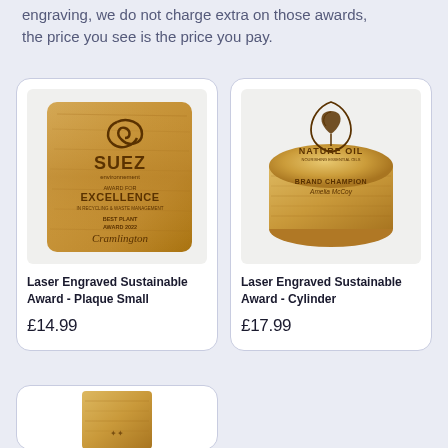engraving, we do not charge extra on those awards, the price you see is the price you pay.
[Figure (photo): Laser engraved wooden plaque award with SUEZ environnement logo, EXCELLENCE in Recycling & Waste Management, Best Plant Award 2022 Cramlington]
Laser Engraved Sustainable Award - Plaque Small
£14.99
[Figure (photo): Laser engraved bamboo cylinder/round box award with Nature Oil Nourishing Essential Oils logo and Brand Champion Amelia McCoy text]
Laser Engraved Sustainable Award - Cylinder
£17.99
[Figure (photo): Partial view of another laser engraved sustainable award product at bottom of page]